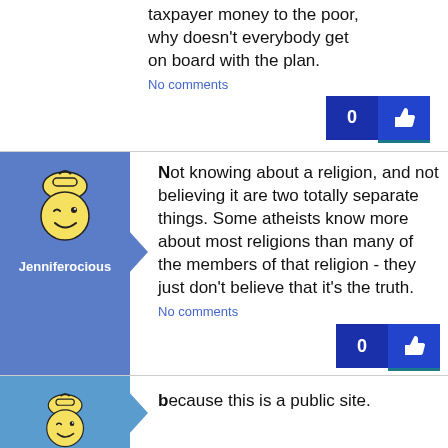taxpayer money to the poor, why doesn't everybody get on board with the plan.
No comments
[Figure (other): Like button with count 0 and thumbs up icon]
[Figure (illustration): Jenniferocious avatar - winking smiley face with bag/hat on blue background]
Not knowing about a religion, and not believing it are two totally separate things. Some atheists know more about most religions than many of the members of that religion - they just don't believe that it's the truth.
No comments
[Figure (other): Like button with count 0 and thumbs up icon]
[Figure (illustration): Avatar - winking smiley face with bag/hat on steel blue background]
because this is a public site.